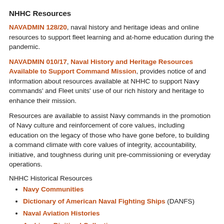NHHC Resources
NAVADMIN 128/20, naval history and heritage ideas and online resources to support fleet learning and at-home education during the pandemic.
NAVADMIN 010/17, Naval History and Heritage Resources Available to Support Command Mission, provides notice of and information about resources available at NHHC to support Navy commands' and Fleet units' use of our rich history and heritage to enhance their mission.
Resources are available to assist Navy commands in the promotion of Navy culture and reinforcement of core values, including education on the legacy of those who have gone before, to building a command climate with core values of integrity, accountability, initiative, and toughness during unit pre-commissioning or everyday operations.
NHHC Historical Resources
Navy Communities
Dictionary of American Naval Fighting Ships (DANFS)
Naval Aviation Histories
Archives Digitized Collections